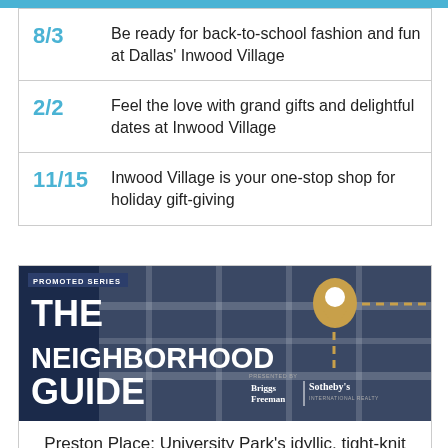8/3 — Be ready for back-to-school fashion and fun at Dallas' Inwood Village
2/2 — Feel the love with grand gifts and delightful dates at Inwood Village
11/15 — Inwood Village is your one-stop shop for holiday gift-giving
[Figure (illustration): The Neighborhood Guide promotional banner with map background, gold location pin, and Briggs Freeman Sotheby's International Realty logo on dark navy background]
Preston Place: University Park's idyllic, tight-knit neighborhood